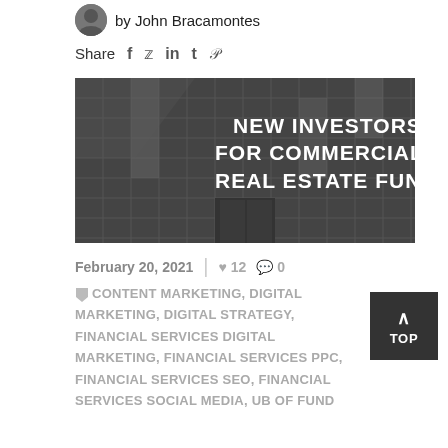by John Bracamontes
Share  f  t  in  t  p
[Figure (photo): Black and white photo of a glass office building facade with bold white text overlay reading NEW INVESTORS FOR COMMERCIAL REAL ESTATE FUNDS]
February 20, 2021  |  ♥ 12  ● 0
CONTENT MARKETING, DIGITAL MARKETING, DIGITAL STRATEGY, FINANCIAL SERVICES DIGITAL MARKETING, FINANCIAL SERVICES PPC, FINANCIAL SERVICES SEO, FINANCIAL SERVICES SOCIAL MEDIA, UB OF FUND